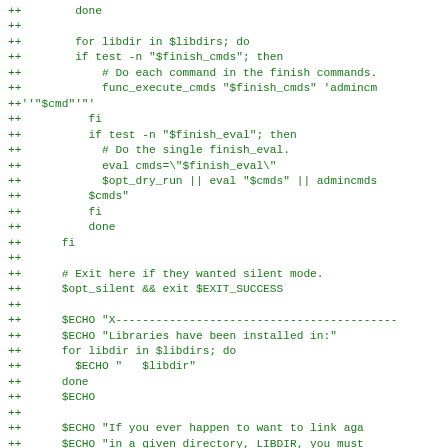++        done
++
++        for libdir in $libdirs; do
++        if test -n "$finish_cmds"; then
++            # Do each command in the finish commands.
++            func_execute_cmds "$finish_cmds" 'admincm
++'"$cmd"'"'
++          fi
++          if test -n "$finish_eval"; then
++            # Do the single finish_eval.
++            eval cmds=\"$finish_eval\"
++            $opt_dry_run || eval "$cmds" || admincmds
++          $cmds"
++          fi
++          done
++      fi
++
++      # Exit here if they wanted silent mode.
++      $opt_silent && exit $EXIT_SUCCESS
++
++      $ECHO "X------------------------------------------
++      $ECHO "Libraries have been installed in:"
++      for libdir in $libdirs; do
++        $ECHO "   $libdir"
++      done
++      $ECHO
++
++      $ECHO "If you ever happen to want to link aga
++      $ECHO "in a given directory, LIBDIR, you must
++      $ECHO "specify the full pathname of the libra
++      $ECHO "flag during linking and do at least on